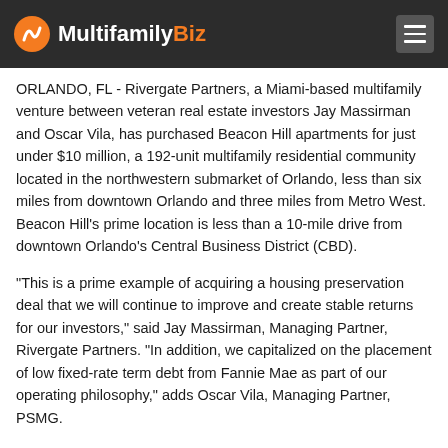MultifamilyBiz
ORLANDO, FL - Rivergate Partners, a Miami-based multifamily venture between veteran real estate investors Jay Massirman and Oscar Vila, has purchased Beacon Hill apartments for just under $10 million, a 192-unit multifamily residential community located in the northwestern submarket of Orlando, less than six miles from downtown Orlando and three miles from Metro West. Beacon Hill's prime location is less than a 10-mile drive from downtown Orlando's Central Business District (CBD).
“This is a prime example of acquiring a housing preservation deal that we will continue to improve and create stable returns for our investors,” said Jay Massirman, Managing Partner, Rivergate Partners. “In addition, we capitalized on the placement of low fixed-rate term debt from Fannie Mae as part of our operating philosophy,” adds Oscar Vila, Managing Partner, PSMG.
Featuring a mix of two- and three-bedroom floor plans averaging 1,134 square feet, Beacon Hill was constructed under the Low